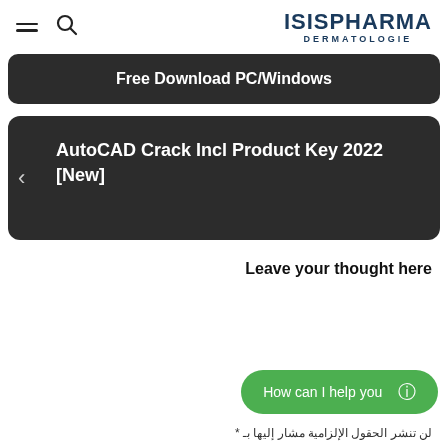ISISPHARMA DERMATOLOGIE
Free Download PC/Windows
AutoCAD Crack Incl Product Key 2022 [New]
Leave your thought here
How can I help you
لن تنشر الحقول الإلزامية مشار إليها بـ *